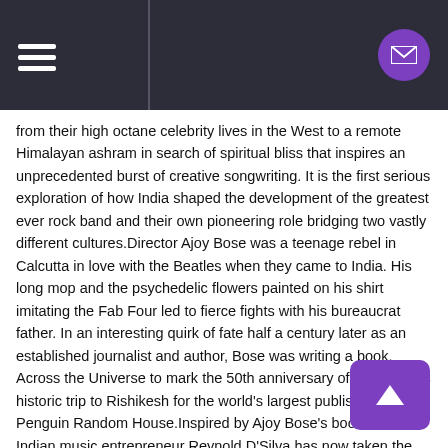[Navigation header with hamburger menu and mail button]
from their high octane celebrity lives in the West to a remote Himalayan ashram in search of spiritual bliss that inspires an unprecedented burst of creative songwriting. It is the first serious exploration of how India shaped the development of the greatest ever rock band and their own pioneering role bridging two vastly different cultures.Director Ajoy Bose was a teenage rebel in Calcutta in love with the Beatles when they came to India. His long mop and the psychedelic flowers painted on his shirt imitating the Fab Four led to fierce fights with his bureaucrat father. In an interesting quirk of fate half a century later as an established journalist and author, Bose was writing a book, Across the Universe to mark the 50th anniversary of The Beatles historic trip to Rishikesh for the world's largest publishing house Penguin Random House.Inspired by Ajoy Bose's book, British Indian music entrepreneur Reynold D'Silva has now taken the amazing saga of The Beatles and India further by producing Bose's directorial debut. Bose and cultural researcher, co-director, Pete Compton, have created an audio-visual presentation that stands apart from the many documentaries on the band, delving deep into the most crucial period of their evolution from the world's most famous pop stars into multi-faceted pioneering musical artists.